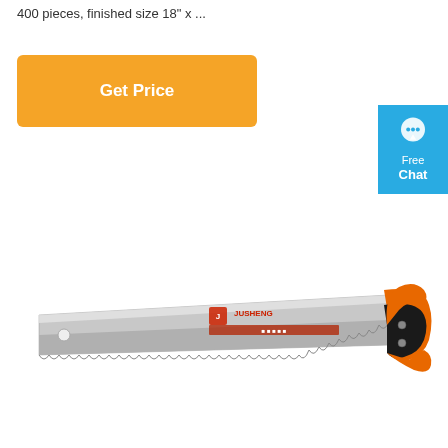400 pieces, finished size 18" x ...
[Figure (other): Orange 'Get Price' button]
[Figure (other): Blue 'Free Chat' widget with chat bubble icon]
[Figure (photo): A hand saw with a silver blade and orange/black handle, Jusheng brand, with serrated teeth along the bottom edge.]